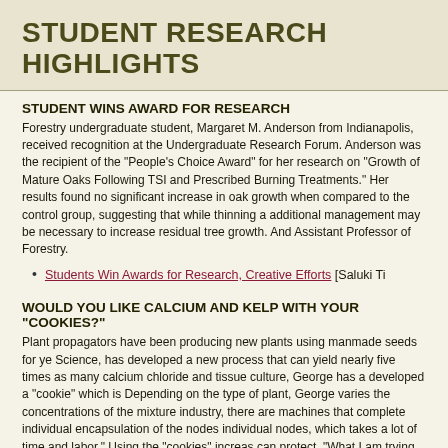STUDENT RESEARCH HIGHLIGHTS
STUDENT WINS AWARD FOR RESEARCH
Forestry undergraduate student, Margaret M. Anderson from Indianapolis, received recognition at the Undergraduate Research Forum. Anderson was the recipient of the "People's Choice Award" for her research on "Growth of Mature Oaks Following TSI and Prescribed Burning Treatments." Her results found no significant increase in oak growth when compared to the control group, suggesting that while thinning alone increases light, additional management may be necessary to increase residual tree growth. Anderson's faculty adviser is Assistant Professor of Forestry.
Students Win Awards for Research, Creative Efforts [Saluki Times]
WOULD YOU LIKE CALCIUM AND KELP WITH YOUR "COOKIES?"
Plant propagators have been producing new plants using manmade seeds for years. George, a professor of Plant Science, has developed a new process that can yield nearly five times as many plants. By combining alginate gel, calcium chloride and tissue culture, George has a developed a "cookie" which is an alternative to manmade seeds. Depending on the type of plant, George varies the concentrations of the mixture for the cookie. In the industry, there are machines that complete individual encapsulation of the nodes. "The machines can only do individual nodes, which takes a lot of time and labor." Using the "cookies" increases the number of plants they can protect. "What I am trying to do is reduce these costs by focusing on mass encapsulation. This technology can use without a high cash outlay, and it can increase the number of plants that might be propagated, especially that are rare and plants where we need to preserve their germplasm," states George. To learn more about plant propagation, follow the link to the story below.
"Cookie" May Help Reduce Costs for Plant Growers [Saluki Times]
SWAMP RABBIT DECLINE IS SLOWING
Chances are that many of us have never seen a swamp rabbit. The swamp rabbit